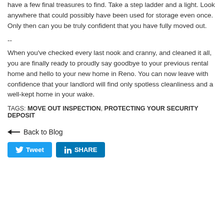have a few final treasures to find. Take a step ladder and a light. Look anywhere that could possibly have been used for storage even once. Only then can you be truly confident that you have fully moved out.
--
When you've checked every last nook and cranny, and cleaned it all, you are finally ready to proudly say goodbye to your previous rental home and hello to your new home in Reno. You can now leave with confidence that your landlord will find only spotless cleanliness and a well-kept home in your wake.
TAGS: MOVE OUT INSPECTION, PROTECTING YOUR SECURITY DEPOSIT
← Back to Blog
[Figure (other): Tweet and LinkedIn Share social media buttons]